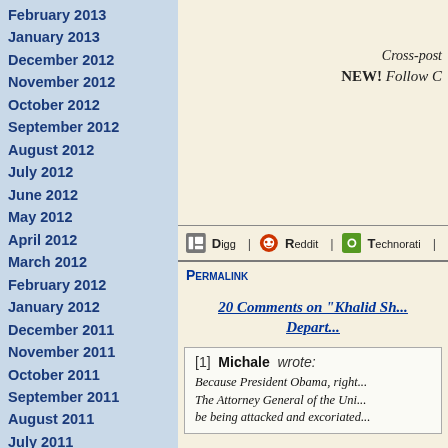February 2013
January 2013
December 2012
November 2012
October 2012
September 2012
August 2012
July 2012
June 2012
May 2012
April 2012
March 2012
February 2012
January 2012
December 2011
November 2011
October 2011
September 2011
August 2011
July 2011
June 2011
May 2011
April 2011
March 2011
February 2011
January 2011
Cross-post
NEW! Follow C
Digg | Reddit | Technorati |
Permalink
20 Comments on "Khalid Sh... Depart..."
[1] Michale wrote: Because President Obama, right... The Attorney General of the Uni... be being attacked and excoriated...